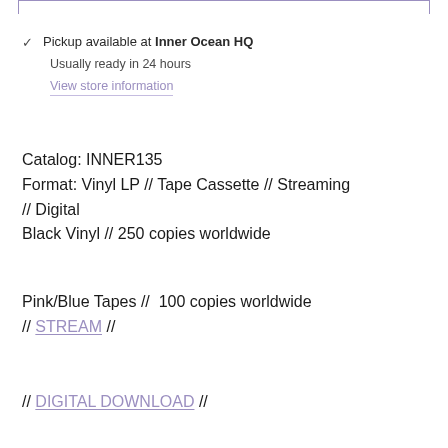Pickup available at Inner Ocean HQ
Usually ready in 24 hours
View store information
Catalog: INNER135
Format: Vinyl LP // Tape Cassette // Streaming // Digital
Black Vinyl // 250 copies worldwide
Pink/Blue Tapes // 100 copies worldwide
// STREAM //
// DIGITAL DOWNLOAD //